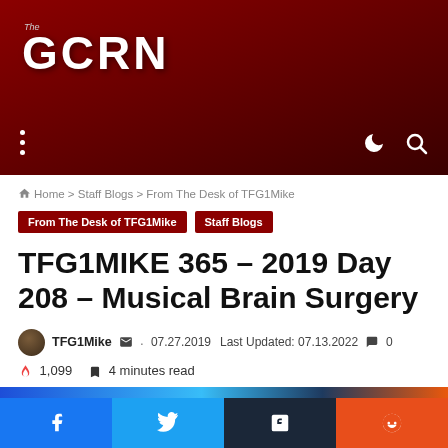The GCRN
Home > Staff Blogs > From The Desk of TFG1Mike
From The Desk of TFG1Mike  Staff Blogs
TFG1MIKE 365 – 2019 Day 208 – Musical Brain Surgery
TFG1Mike  · 07.27.2019  Last Updated: 07.13.2022  0
1,099  4 minutes read